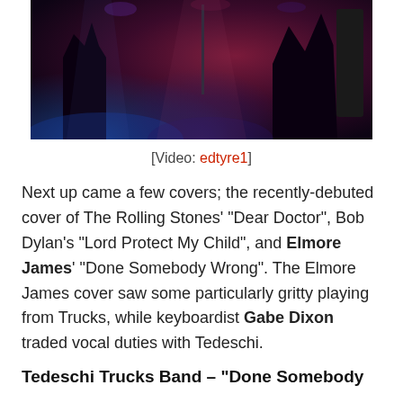[Figure (photo): Concert stage photo showing silhouettes of musicians against a dark purple and red-lit background with instruments visible]
[Video: edtyre1]
Next up came a few covers; the recently-debuted cover of The Rolling Stones’ “Dear Doctor”, Bob Dylan’s “Lord Protect My Child”, and Elmore James’ “Done Somebody Wrong”. The Elmore James cover saw some particularly gritty playing from Trucks, while keyboardist Gabe Dixon traded vocal duties with Tedeschi.
Tedeschi Trucks Band – “Done Somebody